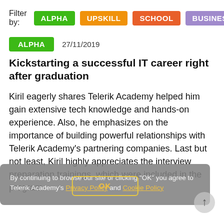Filter by: ALPHA  UPSKILL  SCHOOL  BUSINESS
ALPHA   27/11/2019
Kickstarting a successful IT career right after graduation
Kiril eagerly shares Telerik Academy helped him gain extensive tech knowledge and hands-on experience. Also, he emphasizes on the importance of building powerful relationships with Telerik Academy's partnering companies. Last but not least, Kiril highly appreciates the interview preparation trainings, which were included in the program.
By continuing to browse our site or clicking "OK" you agree to Telerik Academy's Privacy Policy and Cookie Policy